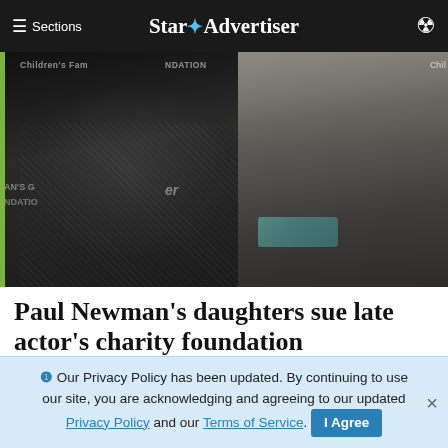≡ Sections   Star ✦ Advertiser   👤
[Figure (photo): Photo of two women at a charity foundation event backdrop. Left person wearing dark sparkly top, right person with blonde hair wearing black top with teal necklace. Text on backdrop reads 'Children's' and 'Foundation'.]
Paul Newman's daughters sue late actor's charity foundation
HARTFORD, Conn. >> A new lawsuit has exposed a deep rift between two of Paul Newman's daughters and the…
Star-Advertiser
❶ Our Privacy Policy has been updated. By continuing to use our site, you are acknowledging and agreeing to our updated Privacy Policy and our Terms of Service. I Agree